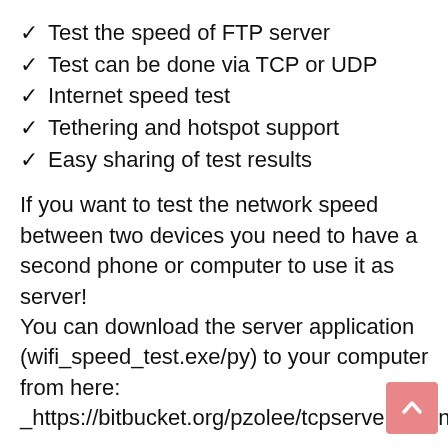✓ Test the speed of FTP server
✓ Test can be done via TCP or UDP
✓ Internet speed test
✓ Tethering and hotspot support
✓ Easy sharing of test results
If you want to test the network speed between two devices you need to have a second phone or computer to use it as server!
You can download the server application (wifi_speed_test.exe/py) to your computer from here:
_https://bitbucket.org/pzolee/tcpserver/downloads
Important: This is not an Internet speed test app! (however you can test the Internet speed